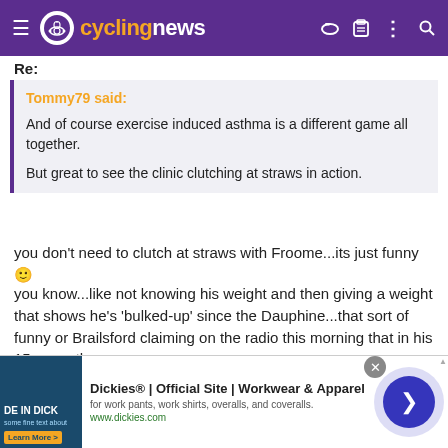cyclingnews
Re:
Tommy79 said:

And of course exercise induced asthma is a different game all together.

But great to see the clinic clutching at straws in action.
you don't need to clutch at straws with Froome...its just funny 🙂
you know...like not knowing his weight and then giving a weight that shows he's 'bulked-up' since the Dauphine...that sort of funny or Brailsford claiming on the radio this morning that in his 15 years the...
[Figure (screenshot): Dickies advertisement banner: Official Site | Workwear & Apparel, for work pants, work shirts, overalls, and coveralls. www.dickies.com]